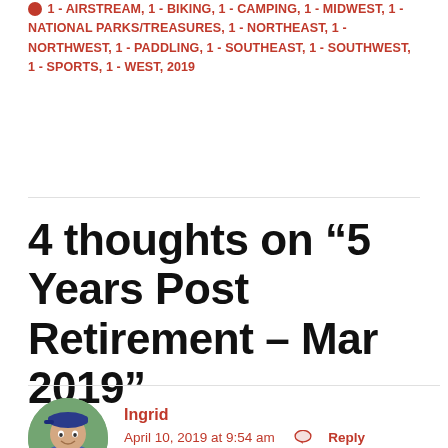1 - AIRSTREAM, 1 - BIKING, 1 - CAMPING, 1 - MIDWEST, 1 - NATIONAL PARKS/TREASURES, 1 - NORTHEAST, 1 - NORTHWEST, 1 - PADDLING, 1 - SOUTHEAST, 1 - SOUTHWEST, 1 - SPORTS, 1 - WEST, 2019
4 thoughts on “5 Years Post Retirement – Mar 2019”
Ingrid
April 10, 2019 at 9:54 am   Reply
You guys sure have covered a lot of ground in your few